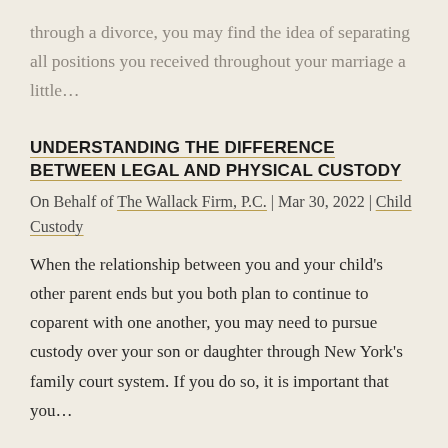through a divorce, you may find the idea of separating all positions you received throughout your marriage a little…
UNDERSTANDING THE DIFFERENCE BETWEEN LEGAL AND PHYSICAL CUSTODY
On Behalf of The Wallack Firm, P.C. | Mar 30, 2022 | Child Custody
When the relationship between you and your child's other parent ends but you both plan to continue to coparent with one another, you may need to pursue custody over your son or daughter through New York's family court system. If you do so, it is important that you…